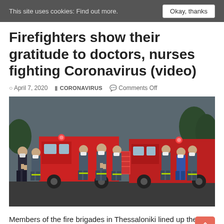This site uses cookies: Find out more.  Okay, thanks
Firefighters show their gratitude to doctors, nurses fighting Coronavirus (video)
April 7, 2020  CORONAVIRUS  Comments Off
[Figure (photo): Firefighters in blue uniforms and face masks standing in a line in front of red fire trucks, clapping.]
Members of the fire brigades in Thessaloniki lined up their vehicles outside the designated hospital AHEPA, turn